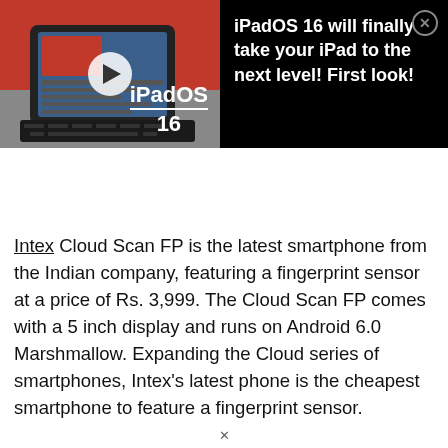[Figure (screenshot): Video ad banner for iPadOS 16. Left side shows a thumbnail of an iPad with keyboard and a play button, with 'iPadOS 16' text overlay. Right side on black background shows text: 'iPadOS 16 will finally take your iPad to the next level! First look!' with a close (X) button in top right corner.]
Intex Cloud Scan FP is the latest smartphone from the Indian company, featuring a fingerprint sensor at a price of Rs. 3,999. The Cloud Scan FP comes with a 5 inch display and runs on Android 6.0 Marshmallow. Expanding the Cloud series of smartphones, Intex's latest phone is the cheapest smartphone to feature a fingerprint sensor.